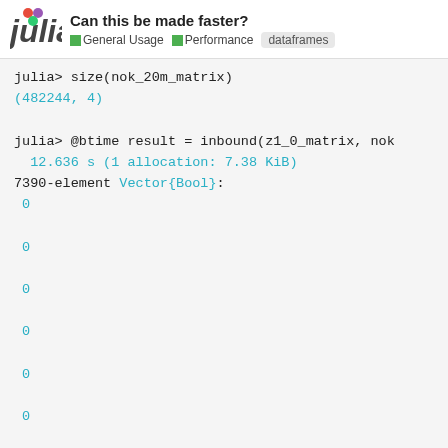Can this be made faster? General Usage Performance dataframes
julia> size(nok_20m_matrix)
(482244, 4)

julia> @btime result = inbound(z1_0_matrix, nok
  12.636 s (1 allocation: 7.38 KiB)
7390-element Vector{Bool}:
 0
 0
 0
 0
 0
 0
 0
 0
 0
 0
 0
 ⋮
 0